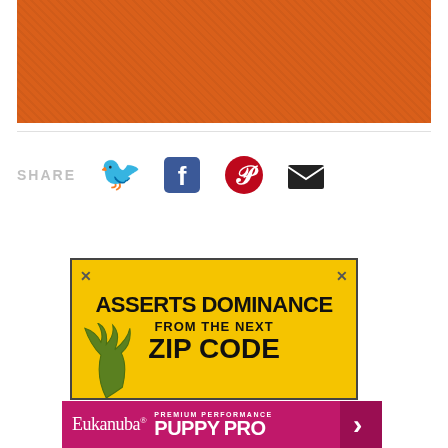[Figure (photo): Orange textured background block]
SHARE
[Figure (infographic): Social share icons: Twitter (blue bird), Facebook (blue F), Pinterest (red P), Email (black envelope)]
[Figure (infographic): Yellow advertisement banner reading ASSERTS DOMINANCE FROM THE NEXT ZIP CODE with antler decoration and X close buttons]
[Figure (infographic): Eukanuba PREMIUM PERFORMANCE PUPPY PRO advertisement bar in magenta/pink with arrow]